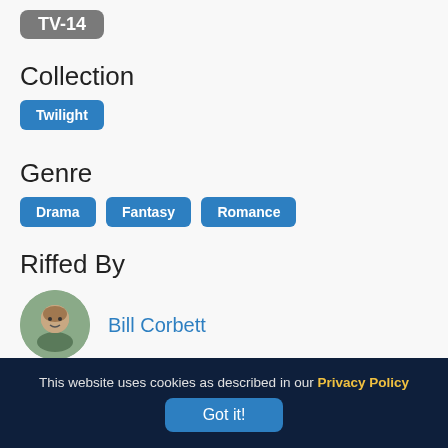[Figure (other): TV-14 rating badge (grey rounded rectangle)]
Collection
Twilight
Genre
Drama  Fantasy  Romance
Riffed By
[Figure (photo): Circular avatar photo of Bill Corbett]
Bill Corbett
[Figure (photo): Circular avatar photo of Kevin Murphy]
Kevin Murphy
This website uses cookies as described in our Privacy Policy  Got it!